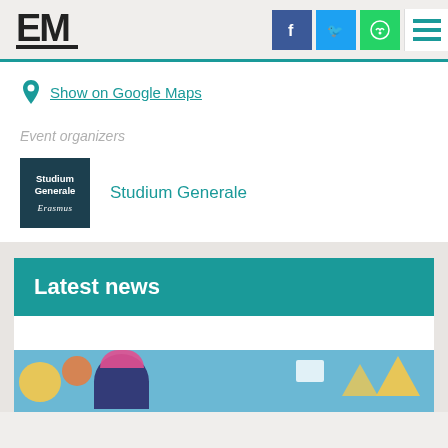[Figure (logo): EM logo in black bold letters]
[Figure (infographic): Social media icons: Facebook (blue), Twitter (light blue), WhatsApp (green), and hamburger menu (teal lines on white)]
Show on Google Maps
Event organizers
[Figure (logo): Studium Generale logo on dark teal background with cursive text below]
Studium Generale
Latest news
[Figure (illustration): Colorful illustration showing people with documents on a blue background with yellow and orange shapes]